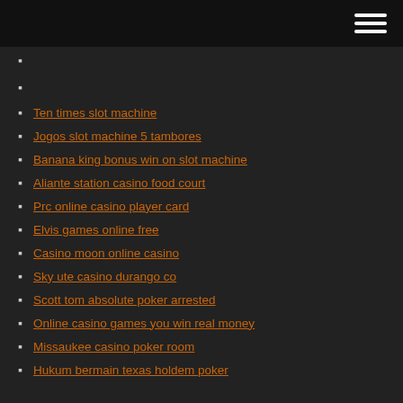Ten times slot machine
Jogos slot machine 5 tambores
Banana king bonus win on slot machine
Aliante station casino food court
Prc online casino player card
Elvis games online free
Casino moon online casino
Sky ute casino durango co
Scott tom absolute poker arrested
Online casino games you win real money
Missaukee casino poker room
Hukum bermain texas holdem poker